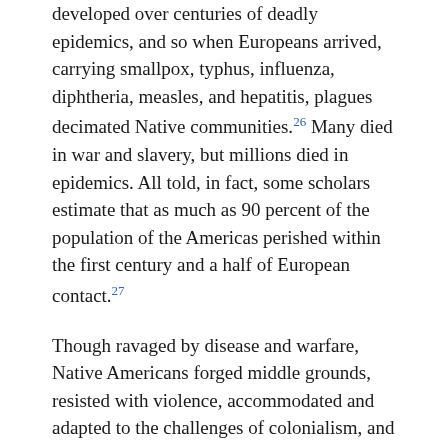developed over centuries of deadly epidemics, and so when Europeans arrived, carrying smallpox, typhus, influenza, diphtheria, measles, and hepatitis, plagues decimated Native communities.26 Many died in war and slavery, but millions died in epidemics. All told, in fact, some scholars estimate that as much as 90 percent of the population of the Americas perished within the first century and a half of European contact.27
Though ravaged by disease and warfare, Native Americans forged middle grounds, resisted with violence, accommodated and adapted to the challenges of colonialism, and continued to shape the patterns of life throughout the New World for hundreds of years. But the Europeans kept coming.